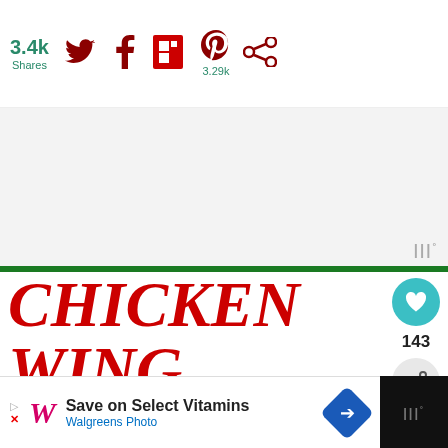3.4k Shares
[Figure (screenshot): Social media share bar with Twitter, Facebook, Flipboard, Pinterest (3.29k), and another icon]
[Figure (screenshot): Advertisement gray box area with WIRED logo watermark]
CHICKEN WING DIPPING SAUCES
for more than 14 kinds of dipping, sauce visit my website @ What's Cookin Italian Style Cuisine.com
[Figure (screenshot): Heart button with 143 likes and share button on right side]
[Figure (screenshot): What's Next panel showing Baked Beer Chicken Leg... thumbnail]
[Figure (screenshot): Bottom advertisement: Save on Select Vitamins - Walgreens Photo]